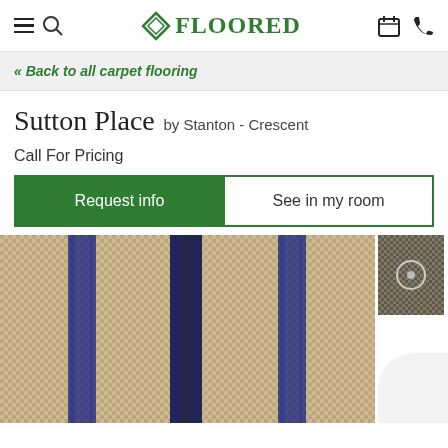FLOORED (logo with navigation icons: hamburger menu, search, calendar, phone)
« Back to all carpet flooring
Sutton Place by Stanton - Crescent
Call For Pricing
Request info | See in my room
[Figure (photo): Close-up photograph of a woven carpet with beige/tan background and dark navy blue vertical stripe pattern. A small thumbnail of a darker colorway is shown to the right.]